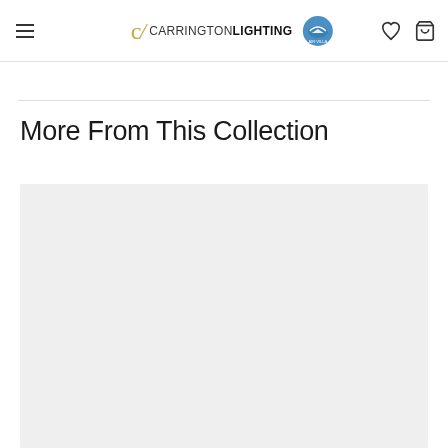≡  cl CARRINGTON LIGHTING  [Air Villa logo]  ♡  🛒
More From This Collection
[Figure (photo): Light gray rectangular product image placeholder area]